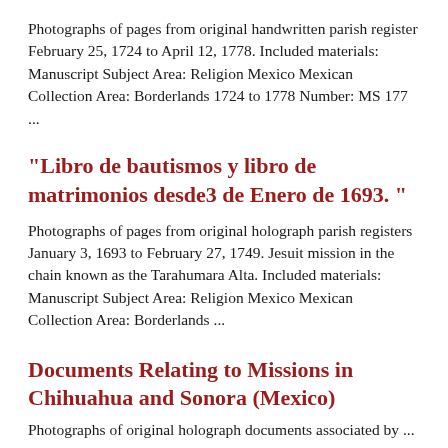Photographs of pages from original handwritten parish register February 25, 1724 to April 12, 1778. Included materials: Manuscript Subject Area: Religion Mexico Mexican Collection Area: Borderlands 1724 to 1778 Number: MS 177 ...
"Libro de bautismos y libro de matrimonios desde3 de Enero de 1693. "
Photographs of pages from original holograph parish registers January 3, 1693 to February 27, 1749. Jesuit mission in the chain known as the Tarahumara Alta. Included materials: Manuscript Subject Area: Religion Mexico Mexican Collection Area: Borderlands ...
Documents Relating to Missions in Chihuahua and Sonora (Mexico)
Photographs of original holograph documents associated by ...